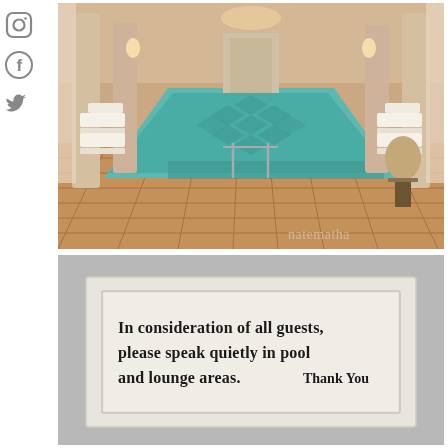[Figure (photo): Social media icons on left side: Instagram camera icon, Facebook 'f' icon, Twitter bird icon, arranged vertically]
[Figure (photo): Indoor hotel or spa pool with turquoise water, Roman-style columns, lounge chairs on either side, warm ambient lighting, waterfall feature at far end, stone tile floor, watermark 'natematha' in bottom right corner]
[Figure (photo): Black and white photo of a framed sign mounted on a grey wall reading: 'In consideration of all guests, please speak quietly in pool and lounge areas. Thank You']
In consideration of all guests, please speak quietly in pool and lounge areas.    Thank You